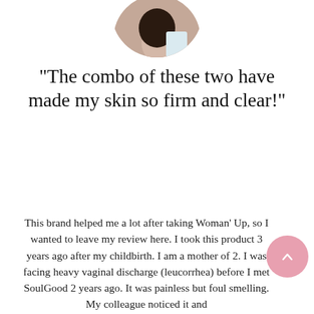[Figure (photo): Circular cropped profile photo of a woman holding a product, partially visible at top of page]
“The combo of these two have made my skin so firm and clear!”
This brand helped me a lot after taking Woman’ Up, so I wanted to leave my review here. I took this product 3 years ago after my childbirth. I am a mother of 2. I was facing heavy vaginal discharge (leucorrhea) before I met SoulGood 2 years ago. It was painless but foul smelling. My colleague noticed it and